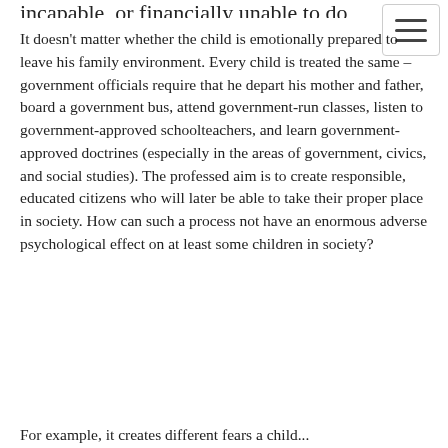incapable, or financially unable to do either one.
It doesn't matter whether the child is emotionally prepared to leave his family environment. Every child is treated the same – government officials require that he depart his mother and father, board a government bus, attend government-run classes, listen to government-approved schoolteachers, and learn government-approved doctrines (especially in the areas of government, civics, and social studies). The professed aim is to create responsible, educated citizens who will later be able to take their proper place in society. How can such a process not have an enormous adverse psychological effect on at least some children in society?
For example, it creates different fears a child...